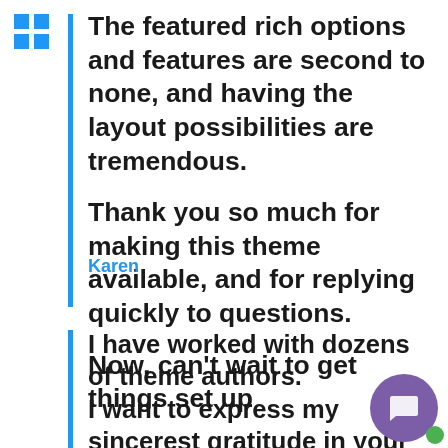The featured rich options and features are second to none, and having the layout possibilities are tremendous.

Thank you so much for making this theme available, and for replying quickly to questions.

Now, can't wait to get things set up
Karen
I have worked with dozens of theme authors.
I want to express my sincerest gratitude in your tireless efforts to resolve and quickly resolve all questions and perceived issues.
Most issues were resolved immediately in a response.